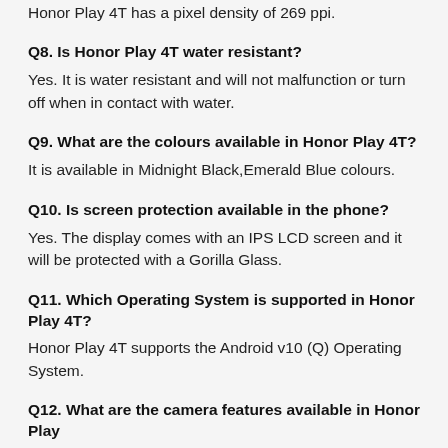Honor Play 4T has a pixel density of 269 ppi.
Q8. Is Honor Play 4T water resistant?
Yes. It is water resistant and will not malfunction or turn off when in contact with water.
Q9. What are the colours available in Honor Play 4T?
It is available in Midnight Black,Emerald Blue colours.
Q10. Is screen protection available in the phone?
Yes. The display comes with an IPS LCD screen and it will be protected with a Gorilla Glass.
Q11. Which Operating System is supported in Honor Play 4T?
Honor Play 4T supports the Android v10 (Q) Operating System.
Q12. What are the camera features available in Honor Play